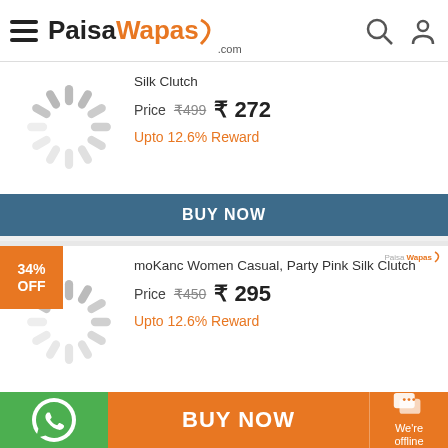PaisaWapas.com
Silk Clutch
Price  ₹499  ₹272
Upto 12.6% Reward
BUY NOW
34% OFF
moKanc Women Casual, Party Pink Silk Clutch
Price  ₹450  ₹295
Upto 12.6% Reward
BUY NOW